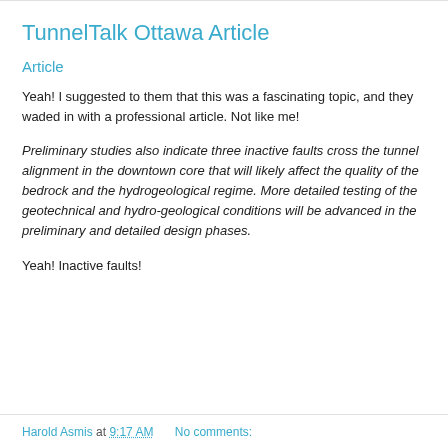TunnelTalk Ottawa Article
Article
Yeah! I suggested to them that this was a fascinating topic, and they waded in with a professional article. Not like me!
Preliminary studies also indicate three inactive faults cross the tunnel alignment in the downtown core that will likely affect the quality of the bedrock and the hydrogeological regime. More detailed testing of the geotechnical and hydro-geological conditions will be advanced in the preliminary and detailed design phases.
Yeah! Inactive faults!
Harold Asmis at 9:17 AM   No comments: